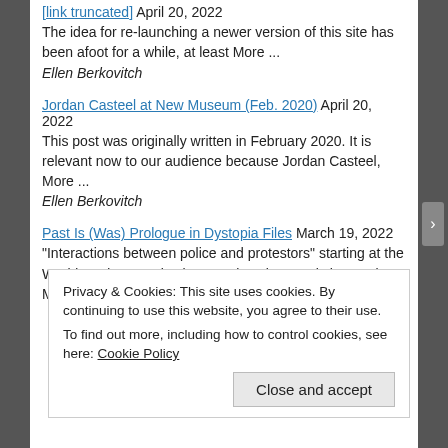[link truncated] April 20, 2022
The idea for re-launching a newer version of this site has been afoot for a while, at least More ...
Ellen Berkovitch
Jordan Casteel at New Museum (Feb. 2020) April 20, 2022
This post was originally written in February 2020. It is relevant now to our audience because Jordan Casteel, More ...
Ellen Berkovitch
Past Is (Was) Prologue in Dystopia Files March 19, 2022
"Interactions between police and protestors" starting at the World Trade Organization meetings in 1999 is how artist Mark More ...
Privacy & Cookies: This site uses cookies. By continuing to use this website, you agree to their use.
To find out more, including how to control cookies, see here: Cookie Policy
Close and accept